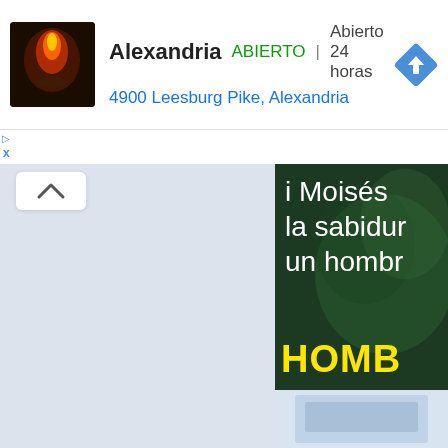[Figure (screenshot): Ad banner for Alexandria business: shows a candle-flame icon, business name 'Alexandria', green 'ABIERTO' label, 'Abierto 24 horas', address '4900 Leesburg Pike, Alexandria', and a blue diamond navigation arrow icon.]
[Figure (screenshot): Left panel is a light blue-gray UI area with a white chevron-up button. Right panel shows a dark green book cover with white Spanish text 'i Moises la sabidur un hombre' and yellow bold text 'HOMB PALA'.]